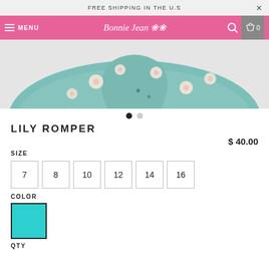FREE SHIPPING IN THE U.S
MENU | Bonnie Jean | 0
[Figure (photo): Close-up of a teal/green floral romper with white daisy flowers on a light gray background]
LILY ROMPER
$ 40.00
SIZE
7  8  10  12  14  16
COLOR
[Figure (illustration): Teal/turquoise color swatch square with dark border]
QTY